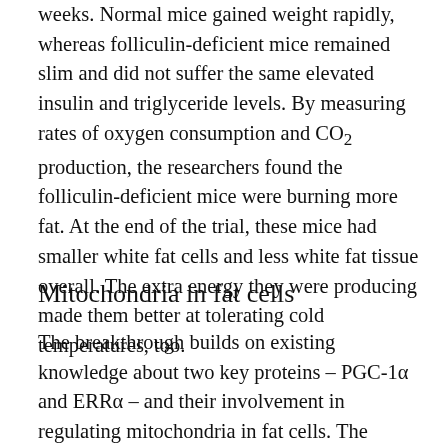weeks. Normal mice gained weight rapidly, whereas folliculin-deficient mice remained slim and did not suffer the same elevated insulin and triglyceride levels. By measuring rates of oxygen consumption and CO2 production, the researchers found the folliculin-deficient mice were burning more fat. At the end of the trial, these mice had smaller white fat cells and less white fat tissue overall. The extra energy they were producing made them better at tolerating cold temperatures, too.
Mitochondria in fat cells
The breakthrough builds on existing knowledge about two key proteins – PGC-1α and ERRα – and their involvement in regulating mitochondria in fat cells. The researchers, led by graduate student Ming